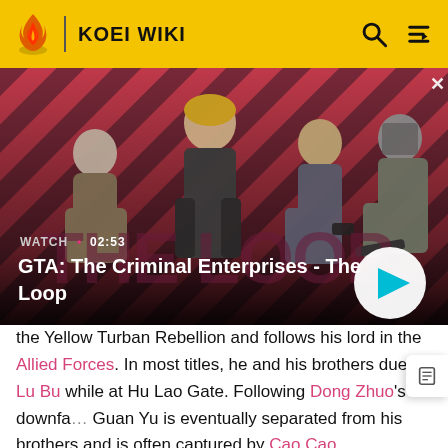KOEI WIKI
[Figure (screenshot): GTA: The Criminal Enterprises - The Loop video banner with characters on a red diagonal striped background. Shows WATCH • 02:53 label and a play button.]
the Yellow Turban Rebellion and follows his lord in the Allied Forces. In most titles, he and his brothers duel Lu Bu while at Hu Lao Gate. Following Dong Zhuo's downfall, Guan Yu is eventually separated from his brothers and is often captured by Cao Cao. Momentarily serving his new master until knowing his brother's whereabouts, he